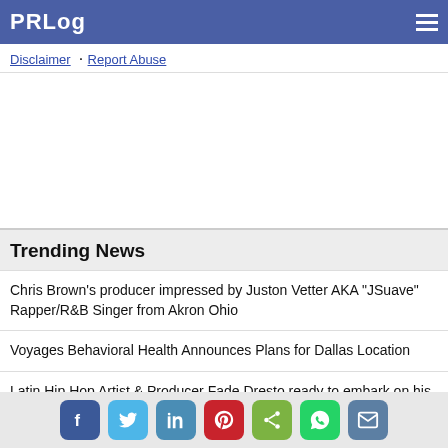PRLog
Disclaimer  Report Abuse
Trending News
Chris Brown's producer impressed by Juston Vetter AKA "JSuave" Rapper/R&B Singer from Akron Ohio
Voyages Behavioral Health Announces Plans for Dallas Location
Latin Hip Hop Artist & Producer Fade Dresto ready to embark on his own unique path to greatness
Producer Drema Dream Presents a Special One Night Only Engagement of the Hit Stage Play Cuttin' Up at the Beauty Shop
Social share icons: Facebook, Twitter, LinkedIn, Pinterest, Share, WhatsApp, Email